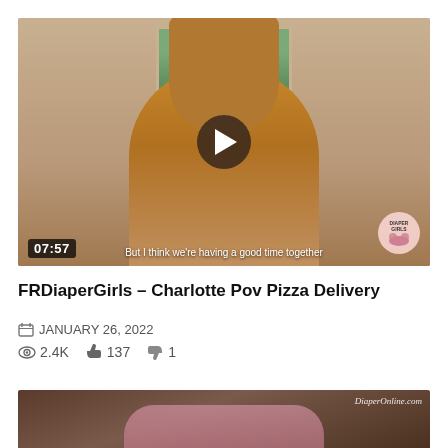[Figure (screenshot): Video thumbnail showing a woman with long hair, play button overlay, duration 07:57, subtitle text 'But I think we're having a good time together', watermark logo bottom right]
FRDiaperGirls – Charlotte Pov Pizza Delivery
JANUARY 26, 2022
2.4K  137  1
[Figure (screenshot): Second video thumbnail, darker tones, DiaperOnline.com watermark]